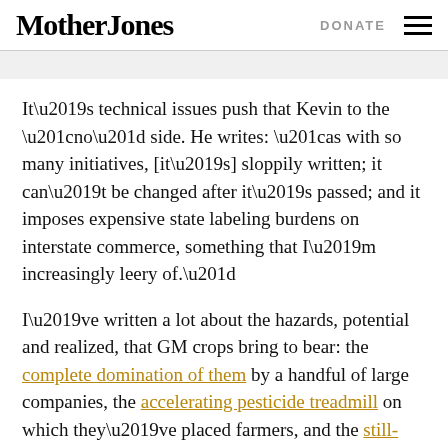Mother Jones | DONATE
It’s technical issues push that Kevin to the “no” side. He writes: “as with so many initiatives, [it’s] sloppily written; it can’t be changed after it’s passed; and it imposes expensive state labeling burdens on interstate commerce, something that I’m increasingly leery of.”
I’ve written a lot about the hazards, potential and realized, that GM crops bring to bear: the complete domination of them by a handful of large companies, the accelerating pesticide treadmill on which they’ve placed farmers, and the still-little-